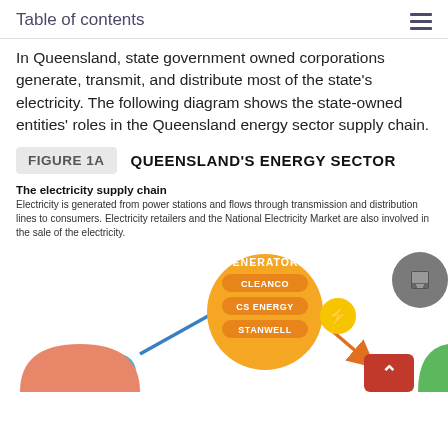Table of contents
In Queensland, state government owned corporations generate, transmit, and distribute most of the state's electricity. The following diagram shows the state-owned entities' roles in the Queensland energy sector supply chain.
FIGURE 1A   QUEENSLAND'S ENERGY SECTOR
The electricity supply chain
Electricity is generated from power stations and flows through transmission and distribution lines to consumers. Electricity retailers and the National Electricity Market are also involved in the sale of the electricity.
[Figure (infographic): Infographic showing Queensland's energy sector supply chain with circular nodes: GENERATORS (containing CLEANCO, CS ENERGY, STANWELL), connected by arrows, with a lightning bolt symbol, a blue bus/vehicle icon, and partial views of other colored circles at the bottom (orange, red with up arrow, green).]